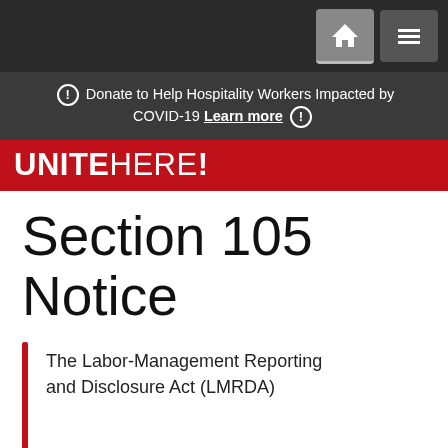UNITE HERE!
Donate to Help Hospitality Workers Impacted by COVID-19 Learn more
Section 105 Notice
The Labor-Management Reporting and Disclosure Act (LMRDA)